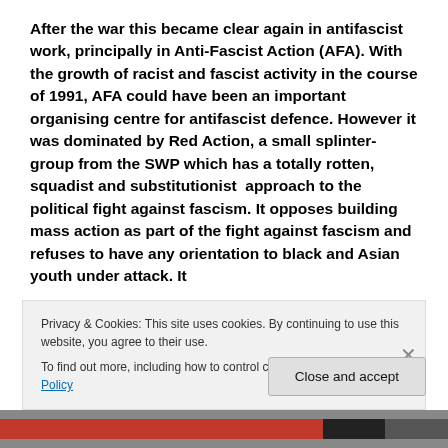After the war this became clear again in antifascist work, principally in Anti-Fascist Action (AFA). With the growth of racist and fascist activity in the course of 1991, AFA could have been an important organising centre for antifascist defence. However it was dominated by Red Action, a small splinter-group from the SWP which has a totally rotten, squadist and substitutionist  approach to the political fight against fascism. It opposes building mass action as part of the fight against fascism and refuses to have any orientation to black and Asian youth under attack. It
Privacy & Cookies: This site uses cookies. By continuing to use this website, you agree to their use.
To find out more, including how to control cookies, see here: Cookie Policy
Close and accept